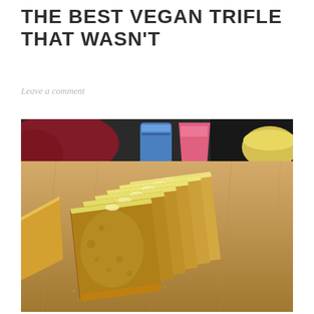THE BEST VEGAN TRIFLE THAT WASN'T
Leave a comment
[Figure (photo): Sliced loaf cake on a wooden cutting board, viewed from above at an angle. The cake is golden yellow/orange with pale yellow interior, showing multiple slices fanned out. Background includes a red cloth, blue tin, pink packaging, and yellow bowl.]